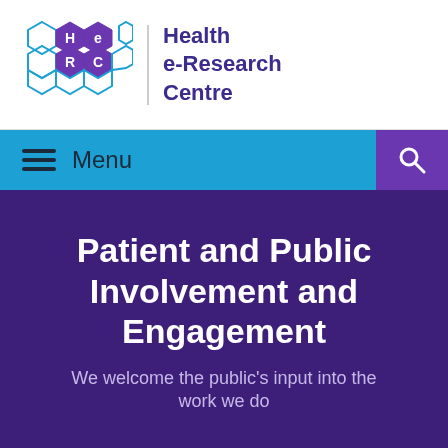[Figure (logo): Health e-Research Centre (HeRC) logo with hexagonal honeycomb pattern in blue and purple, letters H, e, R, C inscribed in hexagons]
Health e-Research Centre
Menu
Patient and Public Involvement and Engagement
We welcome the public's input into the work we do